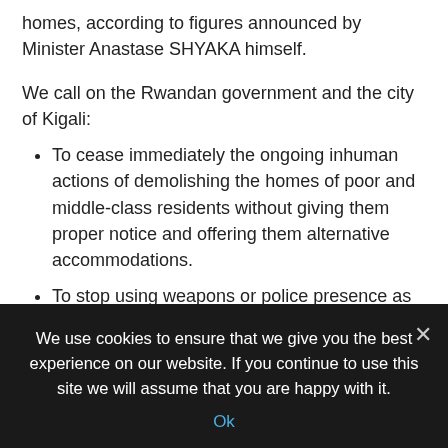homes, according to figures announced by Minister Anastase SHYAKA himself.
We call on the Rwandan government and the city of Kigali:
To cease immediately the ongoing inhuman actions of demolishing the homes of poor and middle-class residents without giving them proper notice and offering them alternative accommodations.
To stop using weapons or police presence as a means of pressure;
To provide without delay alternative accommodations and means to all concerned victims, including children, single
We use cookies to ensure that we give you the best experience on our website. If you continue to use this site we will assume that you are happy with it.
Ok